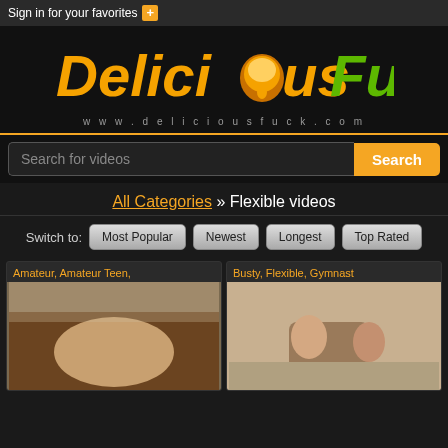Sign in for your favorites +
[Figure (logo): DeliciousFuck logo with orange and green text, honeypot image replacing the 'o', www.deliciousfuck.com below]
Search for videos [Search button]
All Categories » Flexible videos
Switch to: Most Popular | Newest | Longest | Top Rated
Amateur, Amateur Teen,
[Figure (photo): Video thumbnail - adult content]
Busty, Flexible, Gymnast
[Figure (photo): Video thumbnail - adult content, two people on floor near couch]